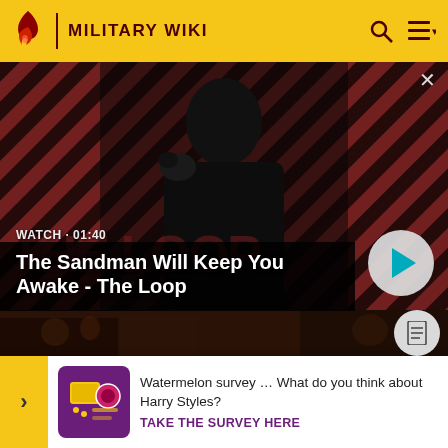Military Wiki
[Figure (screenshot): Video thumbnail showing a pale man in black with a raven on his shoulder, against a red and black diagonal striped background. Text overlay: WATCH • 01:40. Video title: The Sandman Will Keep You Awake - The Loop. Play button visible on right.]
WATCH • 01:40
The Sandman Will Keep You Awake - The Loop
[Figure (screenshot): Dark historical group image at bottom of page]
Watermelon survey … What do you think about Harry Styles?
TAKE THE SURVEY HERE